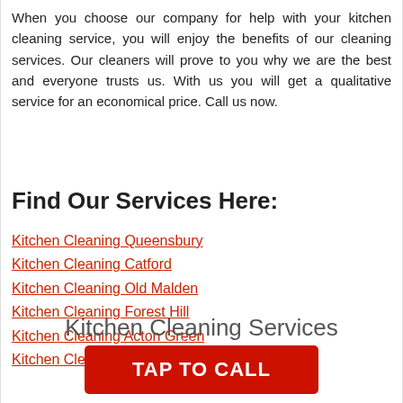When you choose our company for help with your kitchen cleaning service, you will enjoy the benefits of our cleaning services. Our cleaners will prove to you why we are the best and everyone trusts us. With us you will get a qualitative service for an economical price. Call us now.
Find Our Services Here:
Kitchen Cleaning Queensbury
Kitchen Cleaning Catford
Kitchen Cleaning Old Malden
Kitchen Cleaning Forest Hill
Kitchen Cleaning Acton Green
Kitchen Cleaning Heathrow
Kitchen Cleaning Services
TAP TO CALL